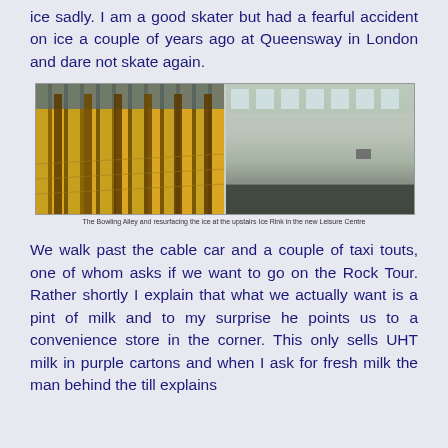ice sadly. I am a good skater but had a fearful accident on ice a couple of years ago at Queensway in London and dare not skate again.
[Figure (photo): Two side-by-side photos: left shows a bowling alley with wooden lanes and pillars, right shows an ice rink being resurfaced in a new leisure centre]
The Bowling Alley and resurfacing the ice at the upstairs Ice Rink in the new Leisure Centre
We walk past the cable car and a couple of taxi touts, one of whom asks if we want to go on the Rock Tour. Rather shortly I explain that what we actually want is a pint of milk and to my surprise he points us to a convenience store in the corner. This only sells UHT milk in purple cartons and when I ask for fresh milk the man behind the till explains